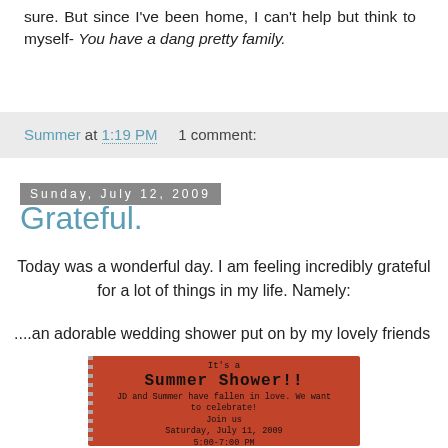sure. But since I've been home, I can't help but think to myself- You have a dang pretty family.
Summer at 1:19 PM    1 comment:
Sunday, July 12, 2009
Grateful.
Today was a wonderful day. I am feeling incredibly grateful for a lot of things in my life. Namely:
....an adorable wedding shower put on by my lovely friends
[Figure (photo): Wedding shower invitation on red/orange background reading: It's a Summer Shower!! JD and Summer have fallen in love. We want to celebrate! Join us Saturday, July 11, 2009 5:00-7:00 PM 313 E 200 N Provo UT]